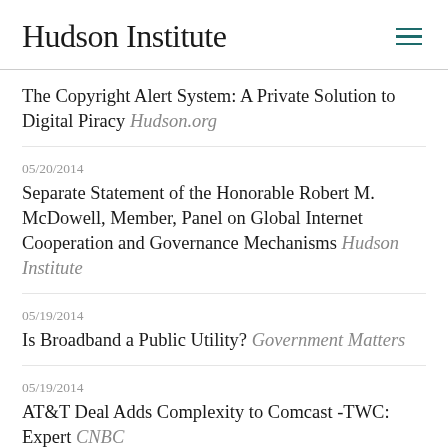Hudson Institute
The Copyright Alert System: A Private Solution to Digital Piracy Hudson.org
05/20/2014
Separate Statement of the Honorable Robert M. McDowell, Member, Panel on Global Internet Cooperation and Governance Mechanisms Hudson Institute
05/19/2014
Is Broadband a Public Utility? Government Matters
05/19/2014
AT&T Deal Adds Complexity to Comcast -TWC: Expert CNBC